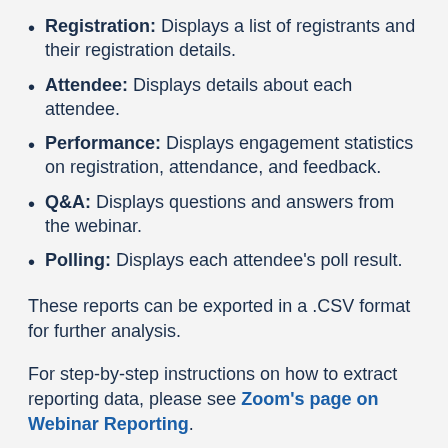Registration: Displays a list of registrants and their registration details.
Attendee: Displays details about each attendee.
Performance: Displays engagement statistics on registration, attendance, and feedback.
Q&A: Displays questions and answers from the webinar.
Polling: Displays each attendee's poll result.
These reports can be exported in a .CSV format for further analysis.
For step-by-step instructions on how to extract reporting data, please see Zoom's page on Webinar Reporting.